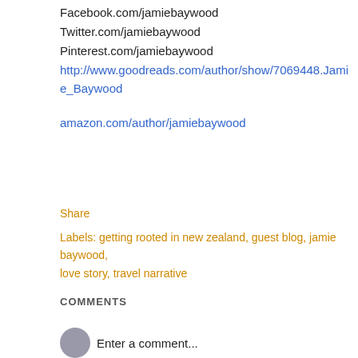Facebook.com/jamiebaywood
Twitter.com/jamiebaywood
Pinterest.com/jamiebaywood
http://www.goodreads.com/author/show/7069448.Jamie_Baywood
amazon.com/author/jamiebaywood
Share
Labels: getting rooted in new zealand, guest blog, jamie baywood, love story, travel narrative
COMMENTS
Enter a comment...